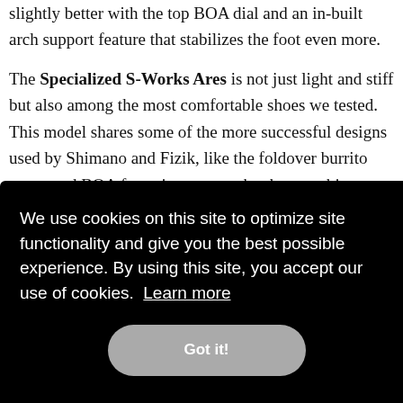slightly better with the top BOA dial and an in-built arch support feature that stabilizes the foot even more.

The Specialized S-Works Ares is not just light and stiff but also among the most comfortable shoes we tested. This model shares some of the more successful designs used by Shimano and Fizik, like the foldover burrito upper and BOA fastening system, but has two big differences. The first is a Dyneema-reinforced sock-like upper that perfectly hugs the foot for a cushy, secure fit, and the other is a suite of design ...ized. ...dge ...knee, ...sure on
We use cookies on this site to optimize site functionality and give you the best possible experience. By using this site, you accept our use of cookies. Learn more

Got it!